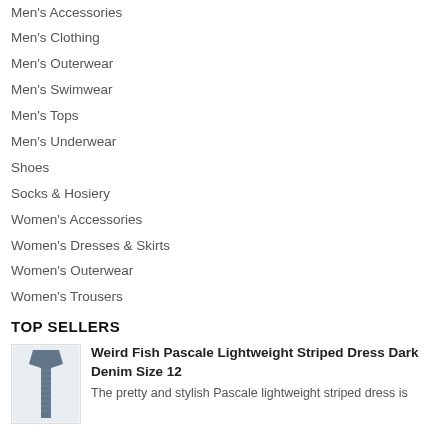Men's Accessories
Men's Clothing
Men's Outerwear
Men's Swimwear
Men's Tops
Men's Underwear
Shoes
Socks & Hosiery
Women's Accessories
Women's Dresses & Skirts
Women's Outerwear
Women's Trousers
TOP SELLERS
[Figure (photo): Photo of a dark denim striped dress]
Weird Fish Pascale Lightweight Striped Dress Dark Denim Size 12
The pretty and stylish Pascale lightweight striped dress is